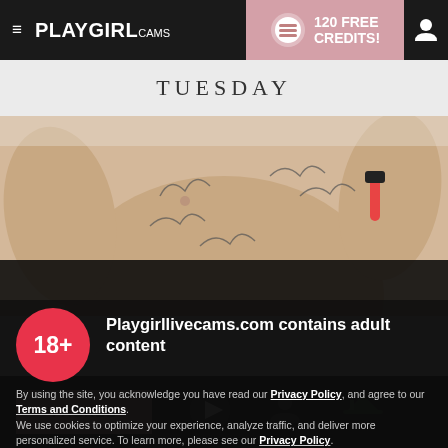≡ PLAYGIRL CAMS  |  120 FREE CREDITS!
TUESDAY
[Figure (photo): Torso of a person with tattoos, partial view]
Playgirllivecams.com contains adult content
By using the site, you acknowledge you have read our Privacy Policy, and agree to our Terms and Conditions.
We use cookies to optimize your experience, analyze traffic, and deliver more personalized service. To learn more, please see our Privacy Policy.
I AGREE